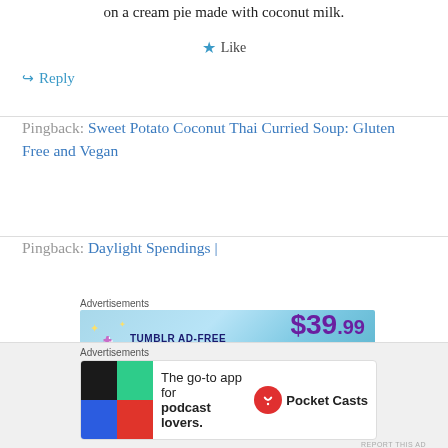on a cream pie made with coconut milk.
★ Like
↪ Reply
Pingback: Sweet Potato Coconut Thai Curried Soup: Gluten Free and Vegan
Pingback: Daylight Spendings |
[Figure (screenshot): Tumblr Ad-Free Browsing advertisement banner: $39.99 a year or $4.99 a month]
REPORT THIS AD
[Figure (screenshot): Pocket Casts advertisement: The go-to app for podcast lovers.]
REPORT THIS AD